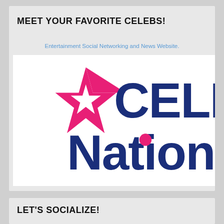MEET YOUR FAVORITE CELEBS!
Entertainment Social Networking and News Website.
[Figure (logo): Celeb Nation logo with a pink star on the left and bold dark blue text reading 'CELEB Nation' with a pink dot over the 'i' in Nation]
LET'S SOCIALIZE!